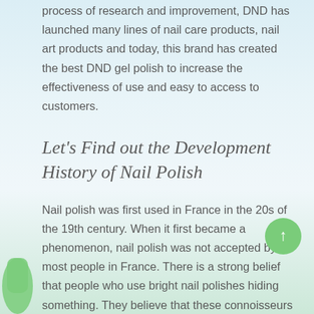process of research and improvement, DND has launched many lines of nail care products, nail art products and today, this brand has created the best DND gel polish to increase the effectiveness of use and easy to access to customers.
Let's Find out the Development History of Nail Polish
Nail polish was first used in France in the 20s of the 19th century. When it first became a phenomenon, nail polish was not accepted by most people in France. There is a strong belief that people who use bright nail polishes hiding something. They believe that these connoisseurs are trying to hide a flaw in their body or hide the results